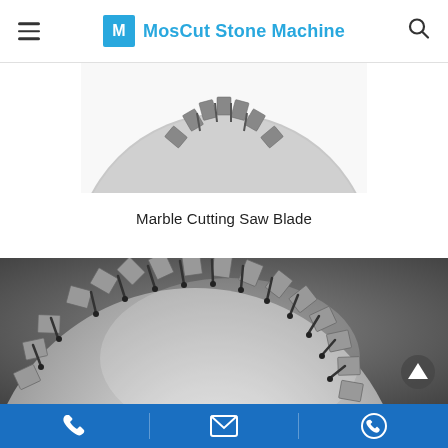MosCut Stone Machine
[Figure (photo): Top portion of a diamond marble cutting saw blade shown against white background, displaying segmented cutting teeth at the top arc.]
Marble Cutting Saw Blade
[Figure (photo): Close-up photograph of a large diamond turbo segment saw blade for marble cutting, showing silver steel body with segmented diamond cutting teeth around the perimeter, black slots between segments, center arbor hole, and two smaller holes on the blade body. Dark gray background.]
Phone | Email | WhatsApp